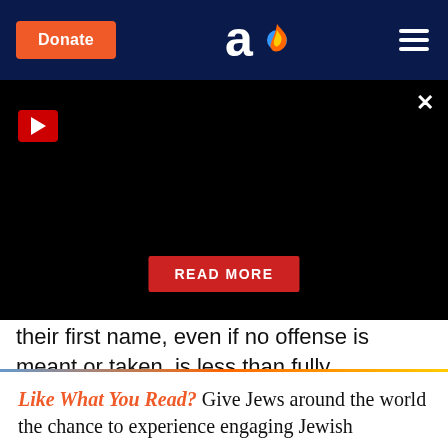Donate | Aish logo | Menu
[Figure (screenshot): Black video player area with red play button in top left, X close button in top right, and a red READ MORE button in the lower center]
their first name, even if no offense is meant or taken, is less than fully respectful. In addition, we can go out of our way to try to help them and do things we know will make them pleased.
Like What You Read? Give Jews around the world the chance to experience engaging Jewish